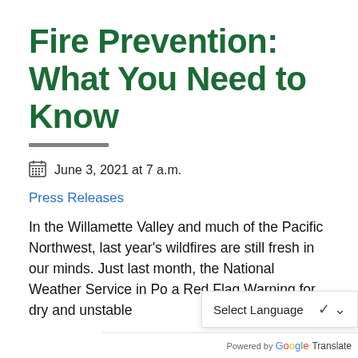Fire Prevention: What You Need to Know
June 3, 2021 at 7 a.m.
Press Releases
In the Willamette Valley and much of the Pacific Northwest, last year's wildfires are still fresh in our minds. Just last month, the National Weather Service in Po... a Red Flag Warning for dry and unstable...